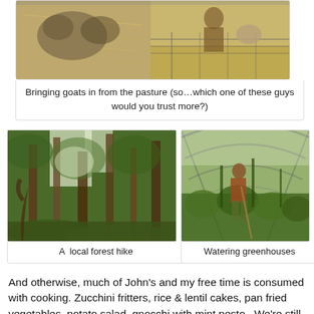[Figure (photo): Two photos side by side: left shows goats/hay in pasture, right shows a person with goats behind wire fence]
Bringing goats in from the pasture (so…which one of these guys would you trust more?)
[Figure (photo): Photo of a local forest hike showing tall trees and green undergrowth]
A  local forest hike
[Figure (photo): Man watering plants inside a large greenhouse polytunnel with lush green vegetation]
Watering greenhouses
And otherwise, much of John's and my free time is consumed with cooking. Zucchini fritters, rice & lentil cakes, pan fried vegetables, potato salad, gnocchi with mint pesto...We're still going strong, despite our kitchen